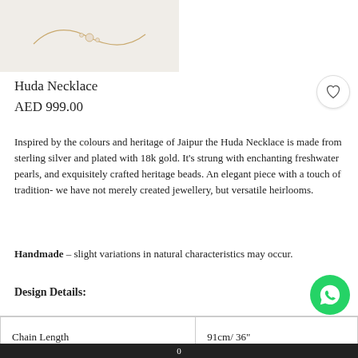[Figure (photo): Product photo of Huda Necklace on light beige background showing a gold chain necklace]
Huda Necklace
AED 999.00
Inspired by the colours and heritage of Jaipur the Huda Necklace is made from sterling silver and plated with 18k gold. It's strung with enchanting freshwater pearls, and exquisitely crafted heritage beads. An elegant piece with a touch of tradition- we have not merely created jewellery, but versatile heirlooms.
Handmade – slight variations in natural characteristics may occur.
Design Details:
| Chain Length | 91cm/ 36" |
| --- | --- |